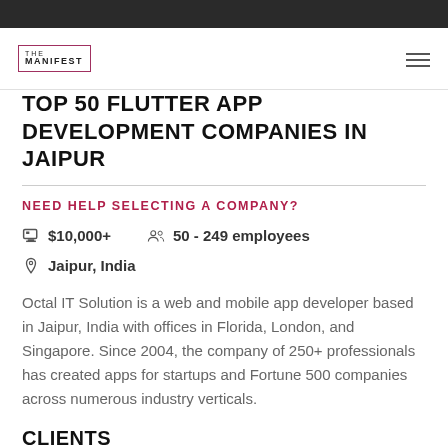THE MANIFEST
TOP 50 FLUTTER APP DEVELOPMENT COMPANIES IN JAIPUR
NEED HELP SELECTING A COMPANY?
$10,000+   50 - 249 employees
Jaipur, India
Octal IT Solution is a web and mobile app developer based in Jaipur, India with offices in Florida, London, and Singapore. Since 2004, the company of 250+ professionals has created apps for startups and Fortune 500 companies across numerous industry verticals.
CLIENTS